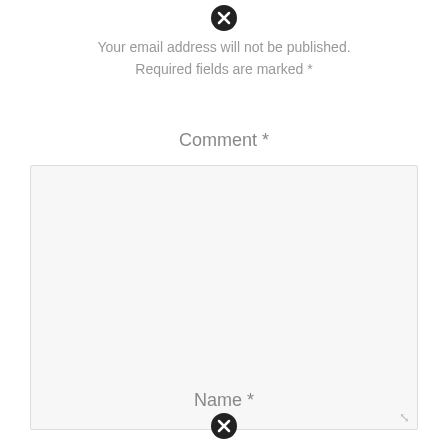[Figure (other): Close/cancel icon (black circle with X) at top center]
Your email address will not be published.
Required fields are marked *
Comment *
[Figure (other): Large comment textarea input box with resize handle]
Name *
[Figure (other): Close/cancel icon (black circle with X) at bottom center]